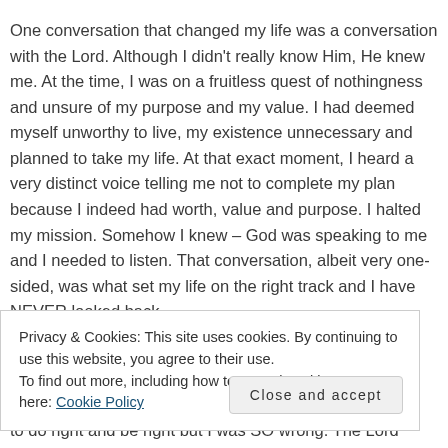One conversation that changed my life was a conversation with the Lord. Although I didn't really know Him, He knew me. At the time, I was on a fruitless quest of nothingness and unsure of my purpose and my value. I had deemed myself unworthy to live, my existence unnecessary and planned to take my life. At that exact moment, I heard a very distinct voice telling me not to complete my plan because I indeed had worth, value and purpose. I halted my mission. Somehow I knew – God was speaking to me and I needed to listen. That conversation, albeit very one-sided, was what set my life on the right track and I have NEVER looked back.
Privacy & Cookies: This site uses cookies. By continuing to use this website, you agree to their use.
To find out more, including how to control cookies, see here: Cookie Policy
to do right and be right but I was SO wrong. The Lord